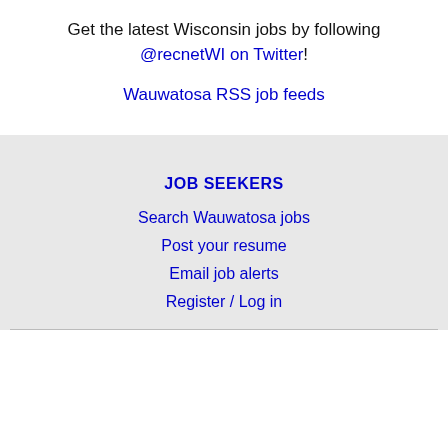Get the latest Wisconsin jobs by following @recnetWI on Twitter!
Wauwatosa RSS job feeds
JOB SEEKERS
Search Wauwatosa jobs
Post your resume
Email job alerts
Register / Log in